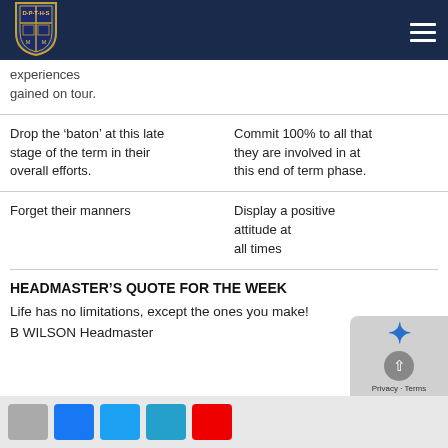[Figure (logo): School crest/shield logo (D.P.T.H.S.) on dark navy header bar]
| DO NOT | DO |
| --- | --- |
| experiences gained on tour. |  |
| Drop the ‘baton’ at this late stage of the term in their overall efforts. | Commit 100% to all that they are involved in at this end of term phase. |
| Forget their manners | Display a positive attitude at all times |
HEADMASTER’S QUOTE FOR THE WEEK
Life has no limitations, except the ones you make!
B WILSON Headmaster